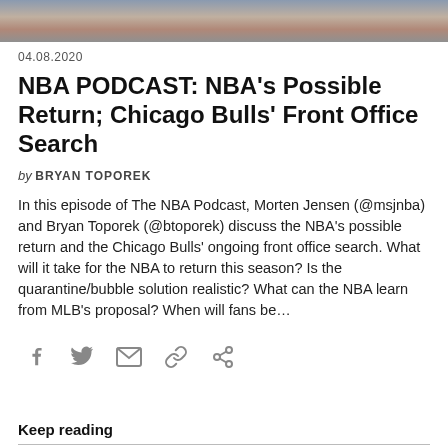[Figure (photo): Cropped photo strip showing people in red and dark clothing]
04.08.2020
NBA PODCAST: NBA’s Possible Return; Chicago Bulls’ Front Office Search
by BRYAN TOPOREK
In this episode of The NBA Podcast, Morten Jensen (@msjnba) and Bryan Toporek (@btoporek) discuss the NBA’s possible return and the Chicago Bulls’ ongoing front office search. What will it take for the NBA to return this season? Is the quarantine/bubble solution realistic? What can the NBA learn from MLB’s proposal? When will fans be…
[Figure (other): Social share icons: Facebook, Twitter, Email, Link, Share]
Keep reading